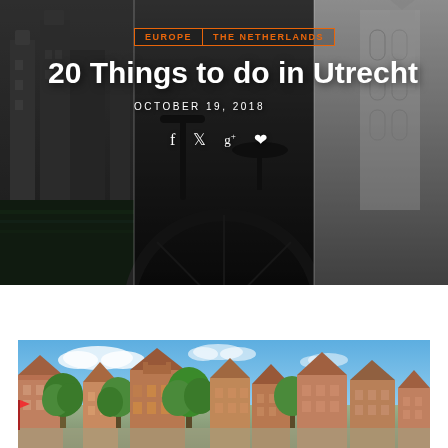[Figure (photo): Hero banner with three panels: left shows Utrecht canal with old buildings, center shows a bicycle close-up, right shows a Gothic cathedral facade. Overlaid with category tags, title, date and social icons.]
20 Things to do in Utrecht
EUROPE  THE NETHERLANDS
OCTOBER 19, 2018
[Figure (photo): Street-level photo of Utrecht showing colorful Dutch row houses with red-brick rooftops and green trees under a blue sky.]